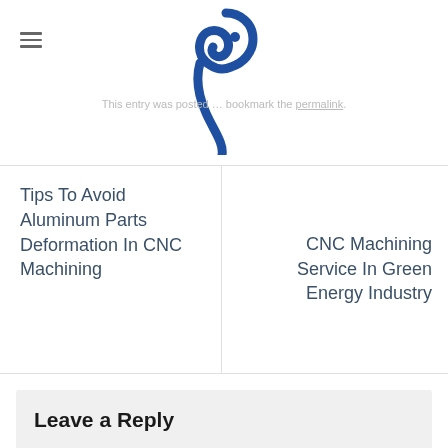This entry was posted … bookmark the permalink.
Tips To Avoid Aluminum Parts Deformation In CNC Machining
CNC Machining Service In Green Energy Industry
Leave a Reply
Your email address will not be published. Required fields are marked *
Comment *